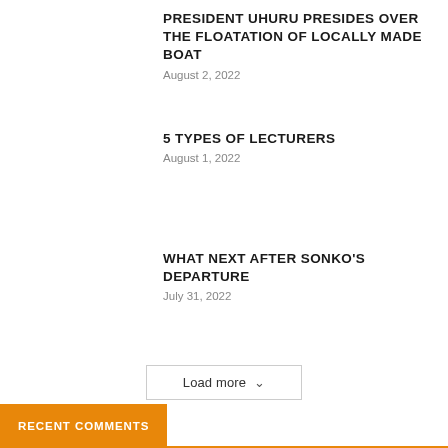PRESIDENT UHURU PRESIDES OVER THE FLOATATION OF LOCALLY MADE BOAT
August 2, 2022
5 TYPES OF LECTURERS
August 1, 2022
WHAT NEXT AFTER SONKO'S DEPARTURE
July 31, 2022
Load more
RECENT COMMENTS